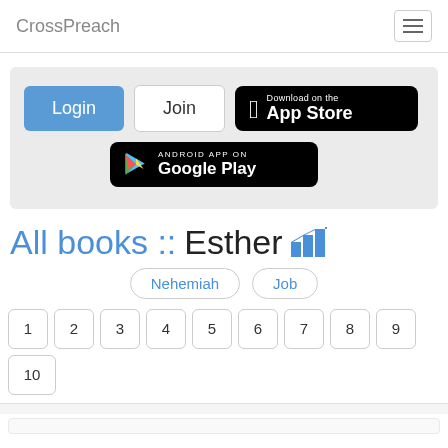CrossPreach
[Figure (screenshot): Login, Join, App Store, and Google Play buttons inside a gray CTA box]
All books :: Esther
Nehemiah
Job
1 2 3 4 5 6 7 8 9 10